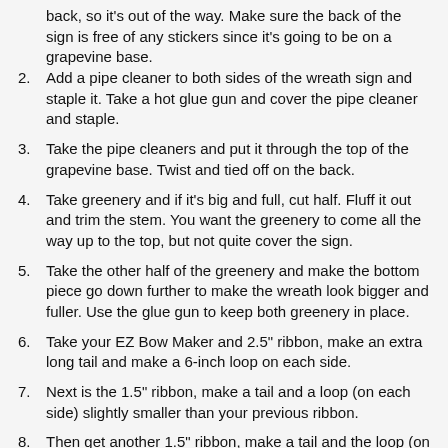back, so it's out of the way. Make sure the back of the sign is free of any stickers since it's going to be on a grapevine base.
2. Add a pipe cleaner to both sides of the wreath sign and staple it. Take a hot glue gun and cover the pipe cleaner and staple.
3. Take the pipe cleaners and put it through the top of the grapevine base. Twist and tied off on the back.
4. Take greenery and if it's big and full, cut half. Fluff it out and trim the stem. You want the greenery to come all the way up to the top, but not quite cover the sign.
5. Take the other half of the greenery and make the bottom piece go down further to make the wreath look bigger and fuller. Use the glue gun to keep both greenery in place.
6. Take your EZ Bow Maker and 2.5" ribbon, make an extra long tail and make a 6-inch loop on each side.
7. Next is the 1.5" ribbon, make a tail and a loop (on each side) slightly smaller than your previous ribbon.
8. Then get another 1.5" ribbon, make a tail and the loop (on each side) will be slightly smaller than the last ribbon.
9. Take the same ribbon and add the extra tail to give it a little